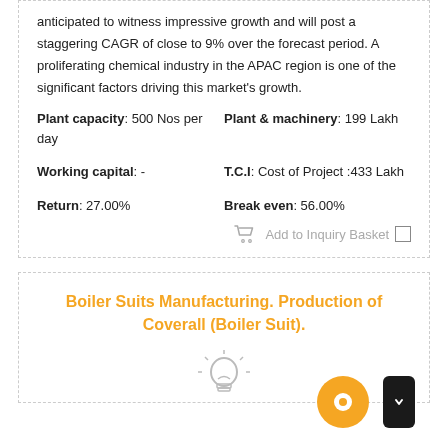anticipated to witness impressive growth and will post a staggering CAGR of close to 9% over the forecast period. A proliferating chemical industry in the APAC region is one of the significant factors driving this market's growth.
Plant capacity: 500 Nos per day
Plant & machinery: 199 Lakh
Working capital: -
T.C.I: Cost of Project :433 Lakh
Return: 27.00%
Break even: 56.00%
Boiler Suits Manufacturing. Production of Coverall (Boiler Suit).
[Figure (illustration): Light bulb icon illustration at the bottom of the second card]